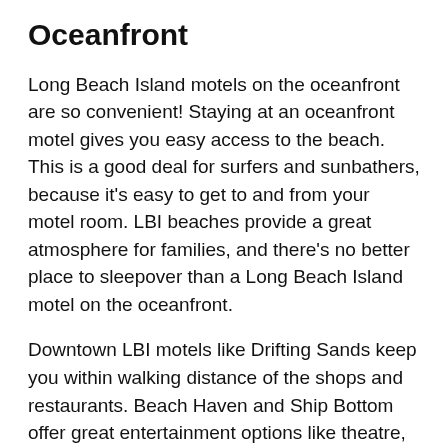Oceanfront
Long Beach Island motels on the oceanfront are so convenient! Staying at an oceanfront motel gives you easy access to the beach. This is a good deal for surfers and sunbathers, because it's easy to get to and from your motel room. LBI beaches provide a great atmosphere for families, and there's no better place to sleepover than a Long Beach Island motel on the oceanfront.
Downtown LBI motels like Drifting Sands keep you within walking distance of the shops and restaurants. Beach Haven and Ship Bottom offer great entertainment options like theatre, art studios, and amusement park rides. There is also a waterpark right at the beach! Spray Beach Hotel offers great fun, but so do their...